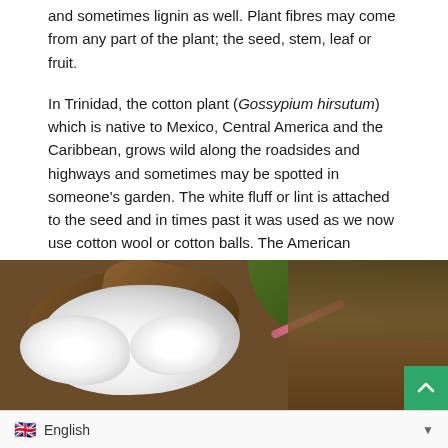and sometimes lignin as well. Plant fibres may come from any part of the plant; the seed, stem, leaf or fruit.
In Trinidad, the cotton plant (Gossypium hirsutum) which is native to Mexico, Central America and the Caribbean, grows wild along the roadsides and highways and sometimes may be spotted in someone's garden. The white fluff or lint is attached to the seed and in times past it was used as we now use cotton wool or cotton balls. The American commercial varieties, Upland cotton and Pima cotton have been bred from this species. The long-stapled cotton, (Gossypium barbadense), which is native to south America, is cultivated in Barbados, ginned to remove the seeds and then shipped to Italy, Switzerland and Japan where it is spun and woven into fine cloth.
[Figure (photo): Close-up photograph of an open cotton boll showing white fluffy cotton fibers against brown dried plant material, with green foliage visible in the background.]